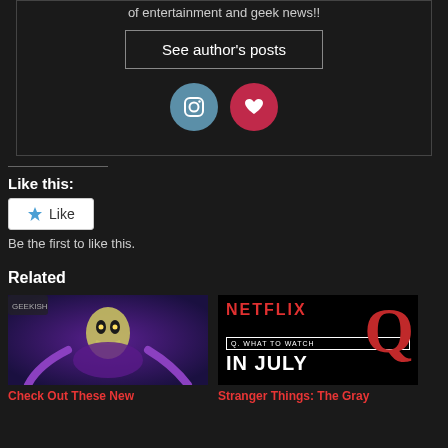of entertainment and geek news!!
See author's posts
[Figure (illustration): Two social media icon circles: Instagram (blue) and a red heart/pin icon]
Like this:
Like
Be the first to like this.
Related
[Figure (illustration): Skeletor animated character image]
Check Out These New
[Figure (illustration): Netflix What to Watch in July promotional image with large red Q]
Stranger Things: The Gray